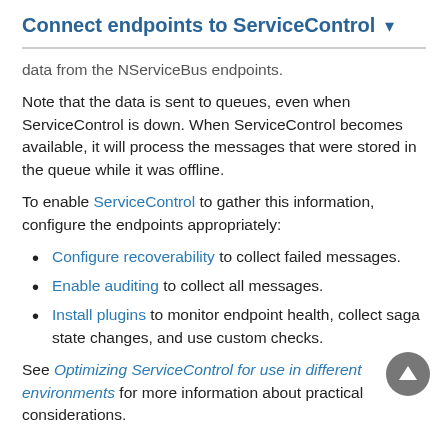Connect endpoints to ServiceControl ▾
data from the NServiceBus endpoints.
Note that the data is sent to queues, even when ServiceControl is down. When ServiceControl becomes available, it will process the messages that were stored in the queue while it was offline.
To enable ServiceControl to gather this information, configure the endpoints appropriately:
Configure recoverability to collect failed messages.
Enable auditing to collect all messages.
Install plugins to monitor endpoint health, collect saga state changes, and use custom checks.
See Optimizing ServiceControl for use in different environments for more information about practical considerations.